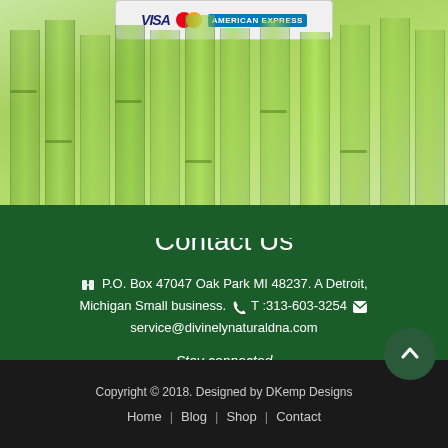[Figure (illustration): Bamboo background image with payment card logos (Visa, Mastercard, Amex) at top]
Contact Us
P.O. Box 47047 Oak Park MI 48237. A Detroit, Michigan Small business. T :313-603-3254 service@divinelynaturaldna.com
Stay connected
[Figure (logo): Facebook circular icon (white circle with Facebook F logo)]
Copyright © 2018. Designed by DKemp Designs
Home | Blog | Shop | Contact